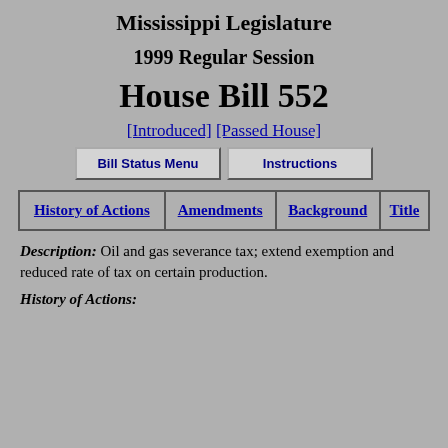Mississippi Legislature
1999 Regular Session
House Bill 552
[Introduced] [Passed House]
Bill Status Menu   Instructions
| History of Actions | Amendments | Background | Title |
| --- | --- | --- | --- |
Description: Oil and gas severance tax; extend exemption and reduced rate of tax on certain production.
History of Actions: